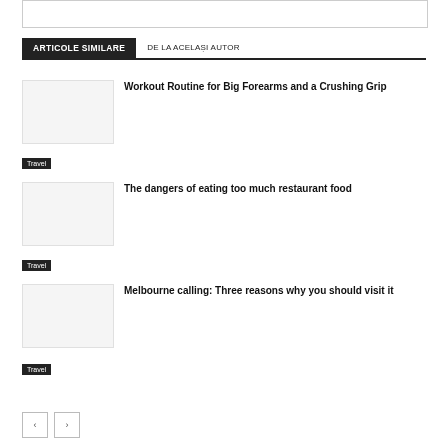[Figure (other): Empty image/banner box at top]
ARTICOLE SIMILARE | DE LA ACELAȘI AUTOR
Workout Routine for Big Forearms and a Crushing Grip
Travel
The dangers of eating too much restaurant food
Travel
Melbourne calling: Three reasons why you should visit it
Travel